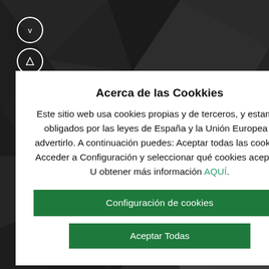[Figure (screenshot): Dark geometric polygon background with triangular facets in dark grey and black tones]
Acerca de las Cookkies
Este sitio web usa cookies propias y de terceros, y estamos obligados por las leyes de España y la Unión Europea a advertirlo. A continuación puedes: Aceptar todas las cookies. Acceder a Configuración y seleccionar qué cookies aceptas. U obtener más información AQUÍ.
Configuración de cookies
Aceptar Todas